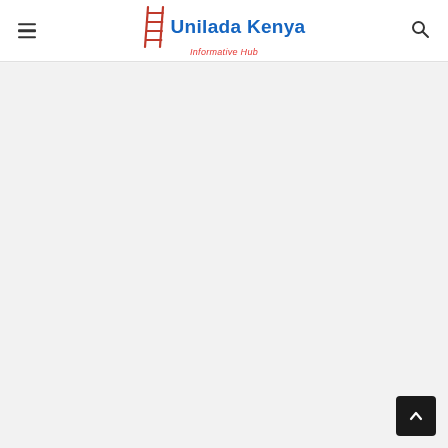Unilada Kenya - Informative Hub
[Figure (logo): Unilada Kenya website header with hamburger menu icon on left, logo in center (ladder graphic with 'Unilada Kenya' in blue and 'Informative Hub' in red italic), and search icon on right]
[Figure (other): Main content area with light gray background, mostly empty page content area]
[Figure (other): Back to top button - dark square button with upward chevron arrow in bottom right corner]